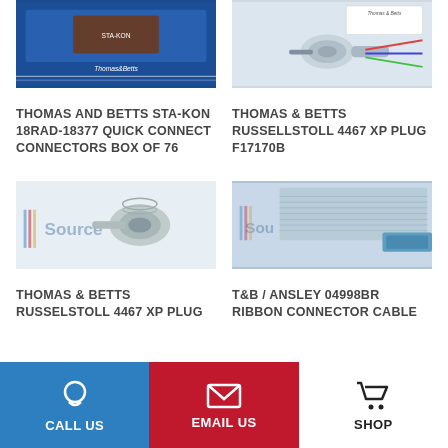[Figure (photo): Thomas & Betts Sta-Kon product in blue packaging]
[Figure (photo): Thomas & Betts Russellstoll 4467 XP plug chrome connector]
THOMAS AND BETTS STA-KON 18RAD-18377 QUICK CONNECT CONNECTORS BOX OF 76
THOMAS & BETTS RUSSELLSTOLL 4467 XP PLUG F17170B
[Figure (photo): Thomas & Betts Russelstoll 4467 XP plug with source logo]
[Figure (photo): T&B / Ansley 04998BR ribbon connector cable gray flat cable]
THOMAS & BETTS RUSSELSTOLL 4467 XP PLUG
T&B / ANSLEY 04998BR RIBBON CONNECTOR CABLE
CALL US   EMAIL US   SHOP